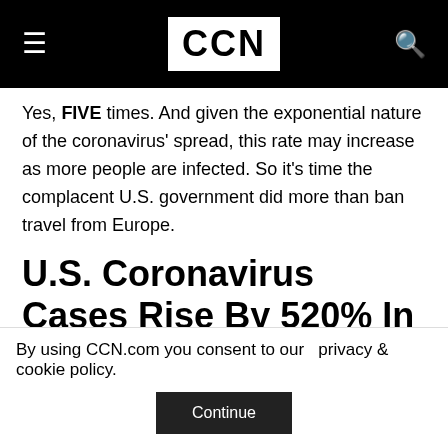CCN
Yes, FIVE times. And given the exponential nature of the coronavirus' spread, this rate may increase as more people are infected. So it's time the complacent U.S. government did more than ban travel from Europe.
U.S. Coronavirus Cases Rise By 520% In Four Days
The coronavirus is coming for the U.S., and it's not
By using CCN.com you consent to our  privacy & cookie policy.
Continue